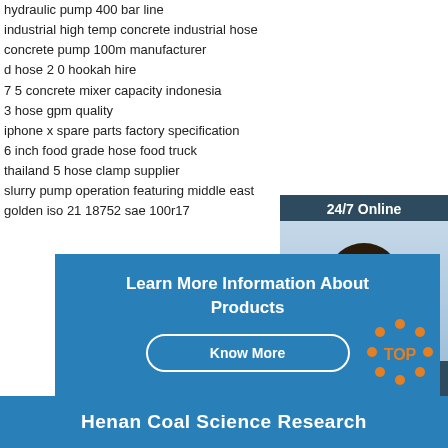hydraulic pump 400 bar line
industrial high temp concrete industrial hose
concrete pump 100m manufacturer
d hose 2 0 hookah hire
7 5 concrete mixer capacity indonesia
3 hose gpm quality
iphone x spare parts factory specification
6 inch food grade hose food truck
thailand 5 hose clamp supplier
slurry pump operation featuring middle east
golden iso 21 18752 sae 100r17
[Figure (photo): 24/7 Online chat widget with woman wearing headset, blue background, with 'Click here for free chat!' text and QUOTATION button]
Learn More Information About Products
Know More
[Figure (logo): TOP logo in orange/red dots circular pattern]
Henan Coal Science Research